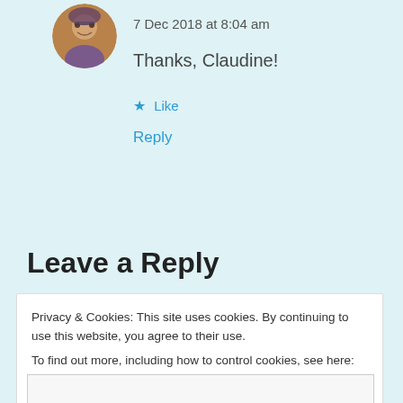[Figure (photo): Circular avatar photo of a woman with glasses and curly hair wearing a purple/floral blouse]
7 Dec 2018 at 8:04 am
Thanks, Claudine!
★ Like
Reply
Leave a Reply
Privacy & Cookies: This site uses cookies. By continuing to use this website, you agree to their use.
To find out more, including how to control cookies, see here: Cookie Policy
Close and accept